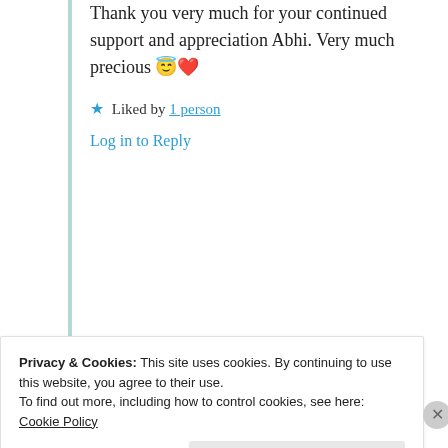Thank you very much for your continued support and appreciation Abhi. Very much precious 😇❤️
★ Liked by 1 person
Log in to Reply
Advertisements
[Figure (screenshot): WordPress advertisement banner showing 'Business in the front...' text with a WordPress branded gradient bar below]
Privacy & Cookies: This site uses cookies. By continuing to use this website, you agree to their use. To find out more, including how to control cookies, see here: Cookie Policy
Close and accept